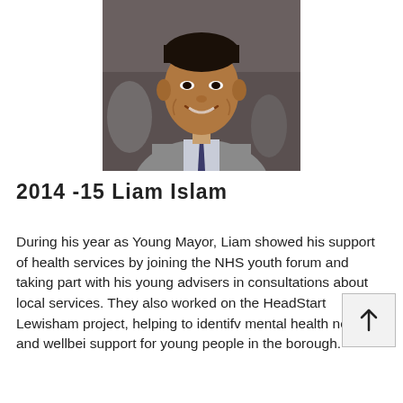[Figure (photo): Portrait photo of Liam Islam, a young man smiling, wearing a grey suit and dark tie]
2014 -15 Liam Islam
During his year as Young Mayor, Liam showed his support of health services by joining the NHS youth forum and taking part with his young advisers in consultations about local services. They also worked on the HeadStart Lewisham project, helping to identify mental health needs and wellbeing support for young people in the borough.